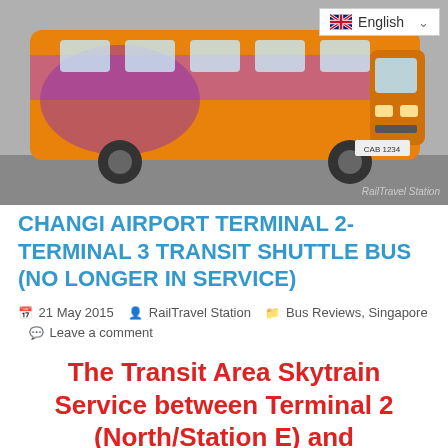[Figure (photo): Orange and purple city bus at Changi Airport terminal, with RailTravel Station watermark. Language selector showing English flag in top right corner.]
CHANGI AIRPORT TERMINAL 2-TERMINAL 3 TRANSIT SHUTTLE BUS (NO LONGER IN SERVICE)
21 May 2015   RailTravel Station   Bus Reviews, Singapore   Leave a comment
The Transit Area Skytrain Service between Terminal 2 (North/Station E) and